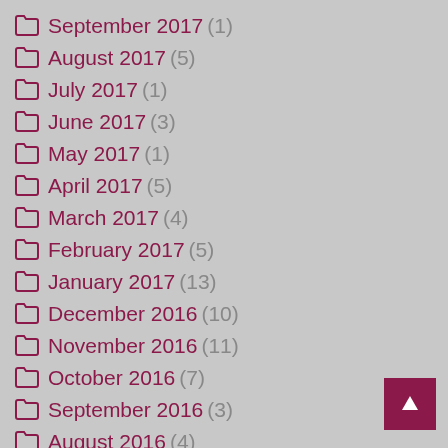September 2017 (1)
August 2017 (5)
July 2017 (1)
June 2017 (3)
May 2017 (1)
April 2017 (5)
March 2017 (4)
February 2017 (5)
January 2017 (13)
December 2016 (10)
November 2016 (11)
October 2016 (7)
September 2016 (3)
August 2016 (4)
July 2016 (10)
June 2016 (3)